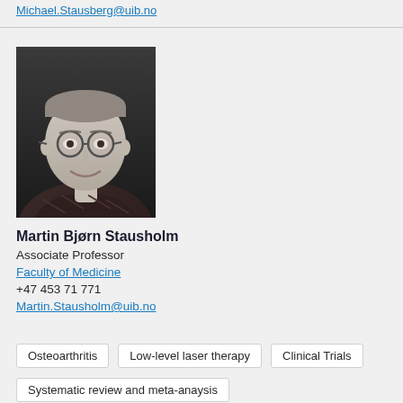Michael.Stausberg@uib.no
[Figure (photo): Black and white headshot photo of Martin Bjørn Stausholm, a young man with short hair and round glasses, smiling, wearing a plaid shirt.]
Martin Bjørn Stausholm
Associate Professor
Faculty of Medicine
+47 453 71 771
Martin.Stausholm@uib.no
Osteoarthritis
Low-level laser therapy
Clinical Trials
Systematic review and meta-anaysis